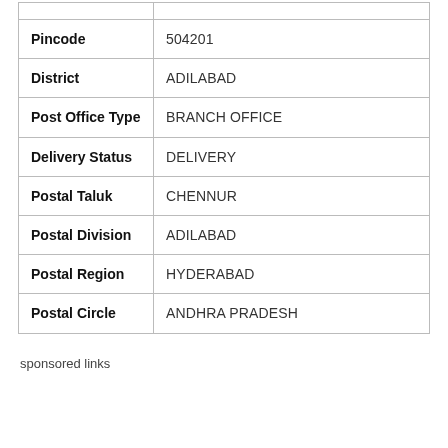| Field | Value |
| --- | --- |
| Pincode | 504201 |
| District | ADILABAD |
| Post Office Type | BRANCH OFFICE |
| Delivery Status | DELIVERY |
| Postal Taluk | CHENNUR |
| Postal Division | ADILABAD |
| Postal Region | HYDERABAD |
| Postal Circle | ANDHRA PRADESH |
sponsored links